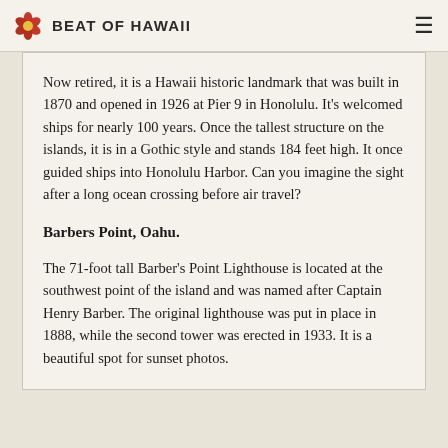BEAT OF HAWAii
Now retired, it is a Hawaii historic landmark that was built in 1870 and opened in 1926 at Pier 9 in Honolulu. It's welcomed ships for nearly 100 years. Once the tallest structure on the islands, it is in a Gothic style and stands 184 feet high. It once guided ships into Honolulu Harbor. Can you imagine the sight after a long ocean crossing before air travel?
Barbers Point, Oahu.
The 71-foot tall Barber's Point Lighthouse is located at the southwest point of the island and was named after Captain Henry Barber. The original lighthouse was put in place in 1888, while the second tower was erected in 1933. It is a beautiful spot for sunset photos.